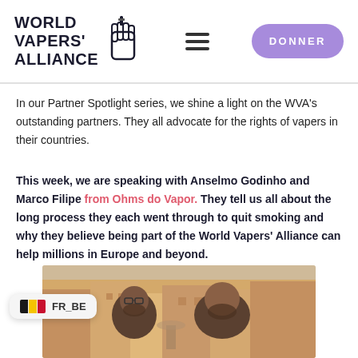WORLD VAPERS' ALLIANCE | DONNER
In our Partner Spotlight series, we shine a light on the WVA's outstanding partners. They all advocate for the rights of vapers in their countries.
This week, we are speaking with Anselmo Godinho and Marco Filipe from Ohms do Vapor. They tell us all about the long process they each went through to quit smoking and why they believe being part of the World Vapers' Alliance can help millions in Europe and beyond.
[Figure (photo): Photo of two men (Anselmo Godinho and Marco Filipe) in front of a colorful painted city background. A Belgian flag language widget showing FR_BE is in the lower left corner.]